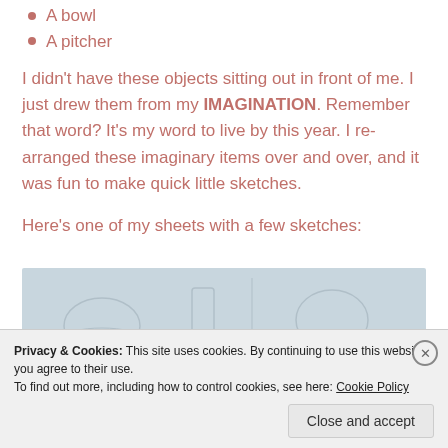A bowl
A pitcher
I didn't have these objects sitting out in front of me. I just drew them from my IMAGINATION. Remember that word? It's my word to live by this year. I re-arranged these imaginary items over and over, and it was fun to make quick little sketches.
Here's one of my sheets with a few sketches:
[Figure (photo): A light blue/grey background showing faint pencil sketches of household objects including what appears to be a bowl, pitcher, and other items drawn from imagination]
Privacy & Cookies: This site uses cookies. By continuing to use this website, you agree to their use.
To find out more, including how to control cookies, see here: Cookie Policy